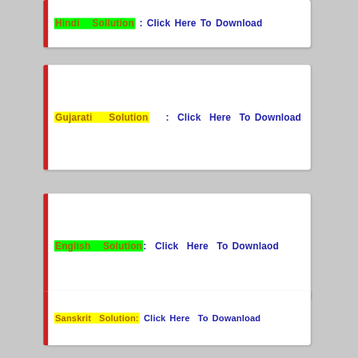Hindi Sollution : Click Here To Download
Gujarati Solution : Click Here To Download
English Solution : Click Here To Downlaod
Sanskrit Solution: Click Here To Dowanload